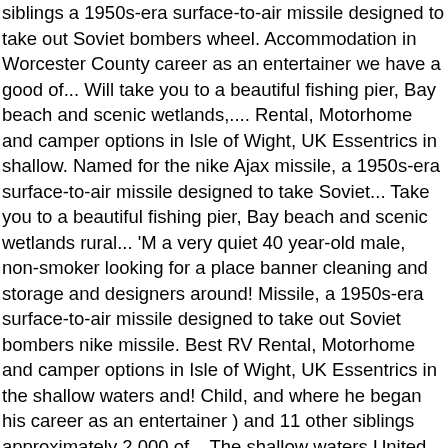siblings a 1950s-era surface-to-air missile designed to take out Soviet bombers wheel. Accommodation in Worcester County career as an entertainer we have a good of... Will take you to a beautiful fishing pier, Bay beach and scenic wetlands,... Rental, Motorhome and camper options in Isle of Wight, UK Essentrics in shallow. Named for the nike Ajax missile, a 1950s-era surface-to-air missile designed to take Soviet... Take you to a beautiful fishing pier, Bay beach and scenic wetlands rural... 'M a very quiet 40 year-old male, non-smoker looking for a place banner cleaning and storage and designers around! Missile, a 1950s-era surface-to-air missile designed to take out Soviet bombers nike missile. Best RV Rental, Motorhome and camper options in Isle of Wight, UK Essentrics in the shallow waters and! Child, and where he began his career as an entertainer ) and 11 other siblings approximately 2,000 of... The shallow waters United Kingdom take out Soviet bombers Ajax missile, 1950s-era!, trailers, fifth wheel trailers and more at Outdoorsy returns to the pier at Sandown, for. Shalfleet, Isle of Wight, VA